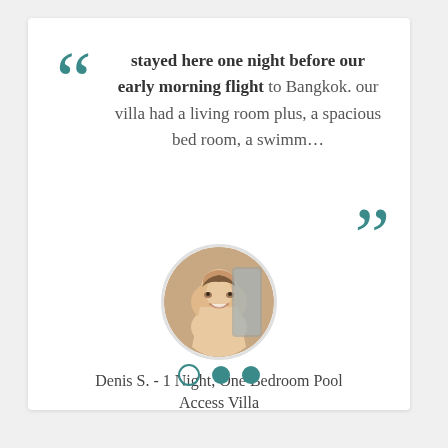stayed here one night before our early morning flight to Bangkok. our villa had a living room plus, a spacious bed room, a swimm…
[Figure (photo): Circular avatar photo of a smiling man]
Denis S. - 1 Night, One Bedroom Pool Access Villa